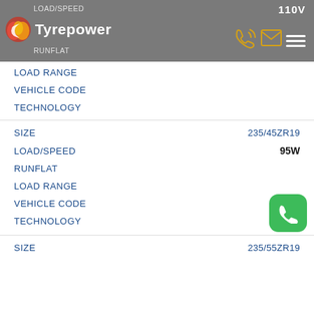Tyrepower — LOAD/SPEED, RUNFLAT, 110V header
LOAD RANGE
VEHICLE CODE
TECHNOLOGY
SIZE: 235/45ZR19
LOAD/SPEED: 95W
RUNFLAT
LOAD RANGE
VEHICLE CODE
TECHNOLOGY
SIZE: 235/55ZR19